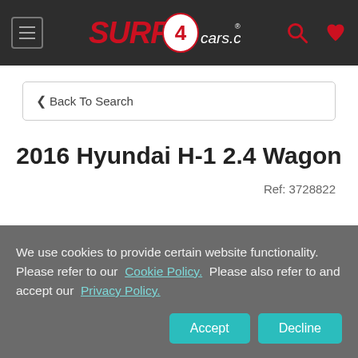[Figure (logo): Surf4Cars.co.za website header with navigation bar, hamburger menu icon, logo, search icon, and heart/favourites icon]
Back To Search
2016 Hyundai H-1 2.4 Wagon
Ref: 3728822
We use cookies to provide certain website functionality. Please refer to our Cookie Policy. Please also refer to and accept our Privacy Policy.